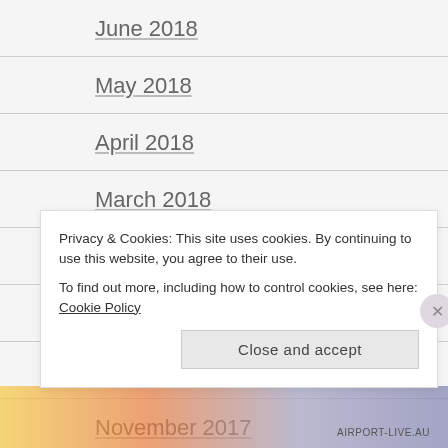June 2018
May 2018
April 2018
March 2018
February 2018
January 2018
December 2017
November 2017
October 2017
Privacy & Cookies: This site uses cookies. By continuing to use this website, you agree to their use.
To find out more, including how to control cookies, see here: Cookie Policy
Close and accept